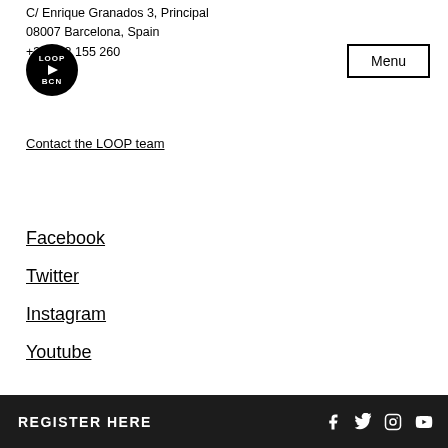C/ Enrique Granados 3, Principal
08007 Barcelona, Spain
+34 932 155 260
[Figure (logo): LOOP BCN circular black logo with play button]
Menu
Contact the LOOP team
Facebook
Twitter
Instagram
Youtube
Search...
Subscribe to our newsletter
[Figure (logo): LOOP PROTOCOL green circular badge with download arrow]
REGISTER HERE
Social media icons: Facebook, Twitter, Instagram, Youtube